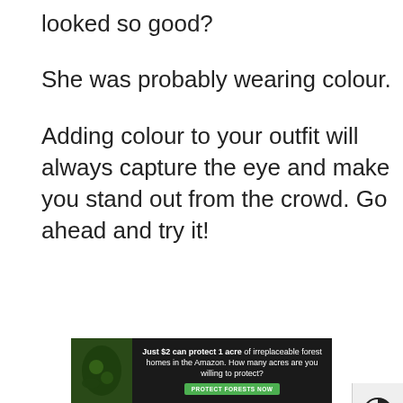looked so good?
She was probably wearing colour.
Adding colour to your outfit will always capture the eye and make you stand out from the crowd. Go ahead and try it!
[Figure (other): Accessibility widget with contrast toggle and text size toggle buttons on the right side of the page]
[Figure (other): Banner advertisement: 'Just $2 can protect 1 acre of irreplaceable forest homes in the Amazon. How many acres are you willing to protect?' with a 'Protect Forests Now' button and forest background image]